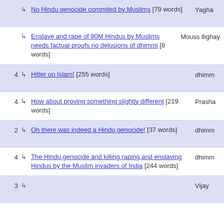No Hindu genocide commited by Muslims [79 words] Yagha
Enslave and rape of 90M Hindus by Muslims needs factual proofs no delusions of dhimmi [8 words] Mouss llighay
4 Hitler on Islam! [255 words] dhimm
4 How about proving something slightly different [219 words] Prasha
2 Oh there was indeed a Hindu genocide! [37 words] dhimm
4 The Hindu genocide and killing raping and enslaving Hindus by the Muslim invaders of India [244 words] dhimm
3 Vijay